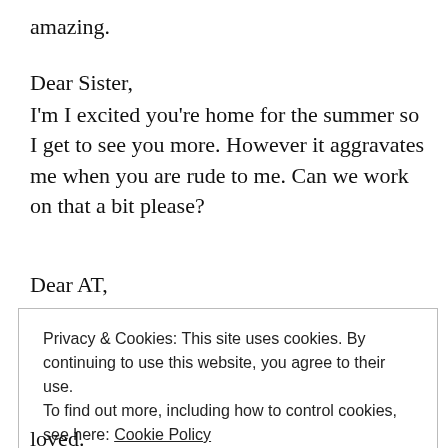amazing.
Dear Sister,
I'm I excited you're home for the summer so I get to see you more. However it aggravates me when you are rude to me. Can we work on that a bit please?
Dear AT,
Privacy & Cookies: This site uses cookies. By continuing to use this website, you agree to their use. To find out more, including how to control cookies, see here: Cookie Policy
Close and accept
loved.